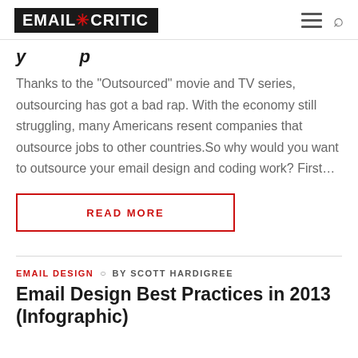EMAIL CRITIC
[partial title visible]
Thanks to the "Outsourced" movie and TV series, outsourcing has got a bad rap. With the economy still struggling, many Americans resent companies that outsource jobs to other countries.So why would you want to outsource your email design and coding work? First…
READ MORE
EMAIL DESIGN ○ BY SCOTT HARDIGREE
Email Design Best Practices in 2013 (Infographic)